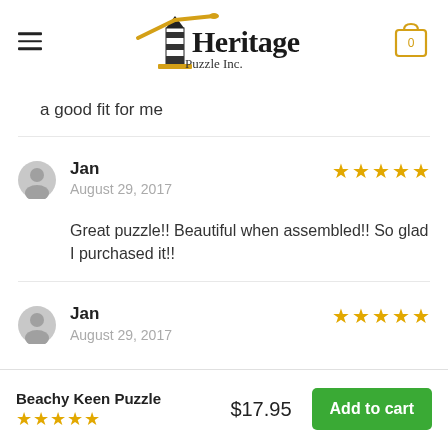[Figure (logo): Heritage Puzzle Inc. logo with lighthouse and crossed oars, plus hamburger menu and cart icon with 0]
a good fit for me
Jan
August 29, 2017
★★★★★
Great puzzle!! Beautiful when assembled!! So glad I purchased it!!
Jan
August 29, 2017
★★★★★
Beachy Keen Puzzle
★★★★★
$17.95
Add to cart